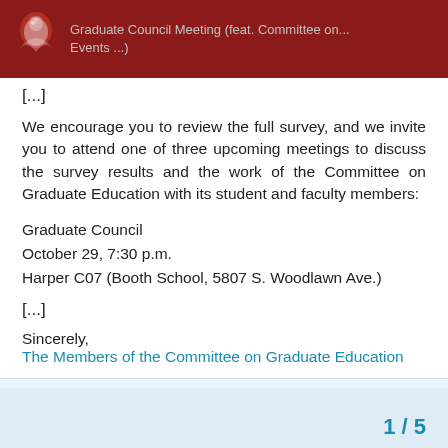Graduate Council Meeting (feat. Committee on... Events ...)
[...]
We encourage you to review the full survey, and we invite you to attend one of three upcoming meetings to discuss the survey results and the work of the Committee on Graduate Education with its student and faculty members:
Graduate Council
October 29, 7:30 p.m.
Harper C07 (Booth School, 5807 S. Woodlawn Ave.)
[...]
Sincerely,
The Members of the Committee on Graduate Education
PS: The survey referenced here was linked at Committee on Graduate Education
1 / 5